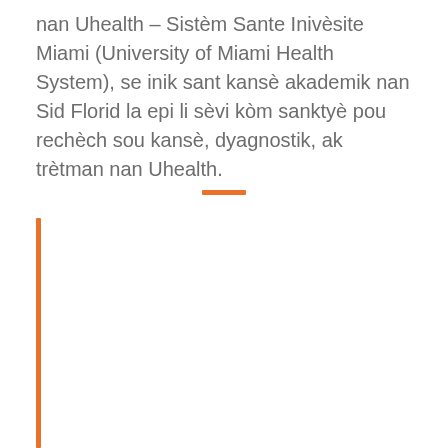nan Uhealth – Sistèm Sante Inivèsite Miami (University of Miami Health System), se inik sant kansè akademik nan Sid Florid la epi li sèvi kòm sanktyè pou rechèch sou kansè, dyagnostik, ak trètman nan Uhealth.